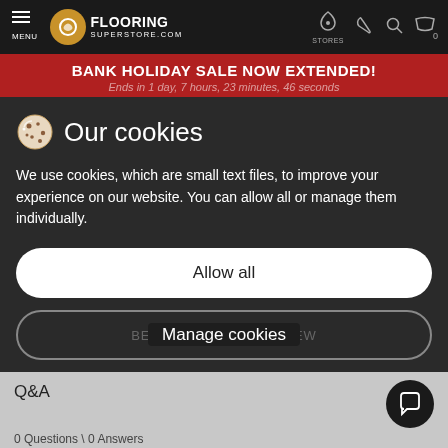FLOORING SUPERSTORE.COM — MENU | STORES | icons
BANK HOLIDAY SALE NOW EXTENDED!
Ends in 1 day, 7 hours, 23 minutes, 46 seconds
Our cookies
We use cookies, which are small text files, to improve your experience on our website. You can allow all or manage them individually.
Allow all
Manage cookies
Q&A
0 Questions \ 0 Answers